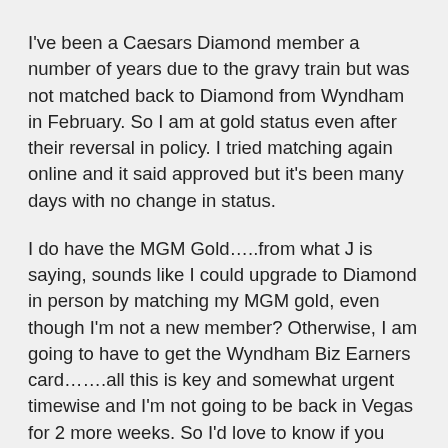I've been a Caesars Diamond member a number of years due to the gravy train but was not matched back to Diamond from Wyndham in February. So I am at gold status even after their reversal in policy. I tried matching again online and it said approved but it's been many days with no change in status.
I do have the MGM Gold…..from what J is saying, sounds like I could upgrade to Diamond in person by matching my MGM gold, even though I'm not a new member? Otherwise, I am going to have to get the Wyndham Biz Earners card…….all this is key and somewhat urgent timewise and I'm not going to be back in Vegas for 2 more weeks. So I'd love to know if you